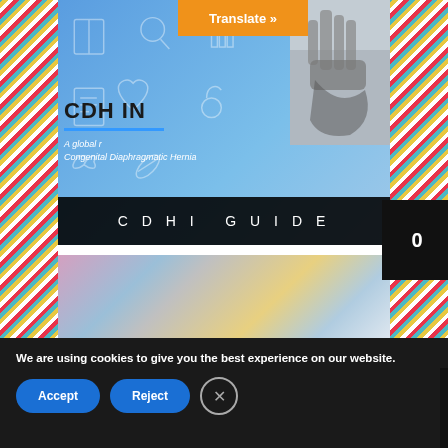[Figure (screenshot): Website screenshot showing CDH International organization page with a Translate button, CDHI Guide card with blue background and X-ray image, Events card with colorful balloons image, and a cookie consent banner at the bottom.]
Translate »
CDH IN
A global [resource for families affected by] Congenital Diaphragmatic Hernia
CDHI GUIDE
EVENTS
We are using cookies to give you the best experience on our website.
Accept
Reject